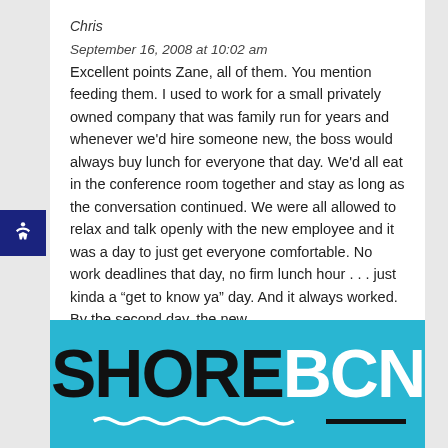Chris
September 16, 2008 at 10:02 am
Excellent points Zane, all of them. You mention feeding them. I used to work for a small privately owned company that was family run for years and whenever we'd hire someone new, the boss would always buy lunch for everyone that day. We'd all eat in the conference room together and stay as long as the conversation continued. We were all allowed to relax and talk openly with the new employee and it was a day to just get everyone comfortable. No work deadlines that day, no firm lunch hour . . . just kinda a “get to know ya” day. And it always worked. By the second day, the new
[Figure (logo): SHORE BCN logo with wave decoration on cyan/blue background]